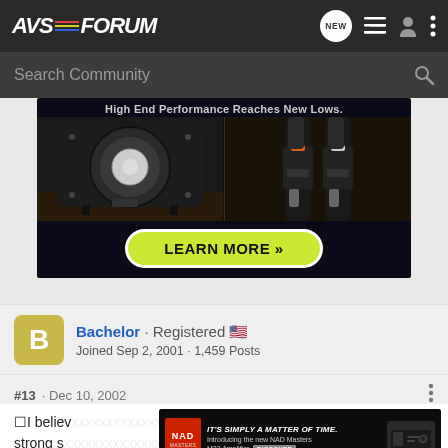AVS FORUM
Search Community
[Figure (screenshot): Advertisement banner showing subwoofer speaker and audio cables with text 'High End Performance Reaches New Lows.' and a yellow-green LEARN MORE button]
Bachelor · Registered 🇺🇸
Joined Sep 2, 2001 · 1,459 Posts
#13 · Dec 10, 2002
I believe ... living a strong s... et you
[Figure (screenshot): NAD advertisement: IT'S SIMPLY A MATTER OF TIME. Introducing the new NAD Masters M33 Amplifier. DISCOVER]